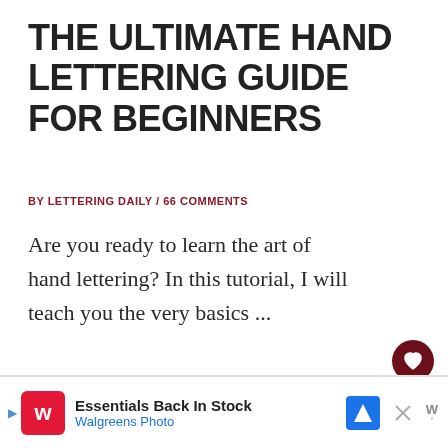THE ULTIMATE HAND LETTERING GUIDE FOR BEGINNERS
BY LETTERING DAILY / 66 COMMENTS
Are you ready to learn the art of hand lettering? In this tutorial, I will teach you the very basics ...
READ MORE »
[Figure (other): Walgreens Photo advertisement banner with logo, 'Essentials Back In Stock' text, navigation icon, and close button]